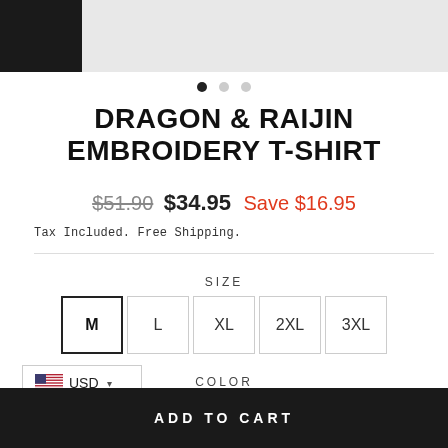[Figure (photo): Product image of Dragon & Raijin Embroidery T-Shirt, partially cropped at top. Small thumbnail on left showing dark shirt, main image center showing shirt detail on light background. Three navigation dots below.]
DRAGON & RAIJIN EMBROIDERY T-SHIRT
$51.90  $34.95  Save $16.95
Tax Included. Free Shipping.
SIZE
M (selected)
L
XL
2XL
3XL
USD
COLOR
Black (selected)
ADD TO CART